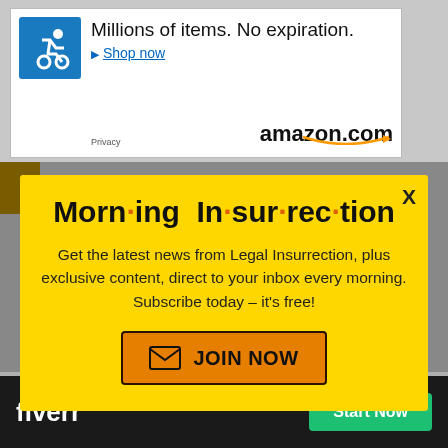[Figure (screenshot): Amazon advertisement banner showing wheelchair accessibility icon, text 'Millions of items. No expiration. Shop now' and amazon.com logo with orange swoosh]
[Figure (screenshot): Yellow popup modal for 'Morning Insurrection' newsletter signup with orange dot separators in title, description text, and orange JOIN NOW button]
Morn·ing In·sur·rec·tion
Get the latest news from Legal Insurrection, plus exclusive content, direct to your inbox every morning. Subscribe today – it's free!
[Figure (screenshot): Fiverr advertisement bar at bottom with 'fiverr' logo in white on black background and green 'Start Now' button]